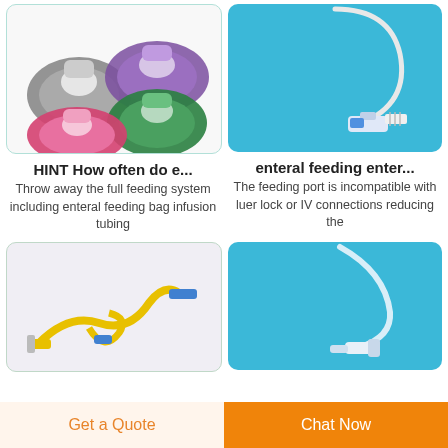[Figure (photo): Four colorful anesthesia face masks in gray, purple, green, and pink on white background]
[Figure (photo): Enteral feeding tube connector on blue background]
HINT How often do e...
enteral feeding enter...
Throw away the full feeding system including enteral feeding bag infusion tubing
The feeding port is incompatible with luer lock or IV connections reducing the
[Figure (photo): Yellow enteral feeding set with tubing and connectors on light background]
[Figure (photo): Enteral feeding tube tip on blue background]
Get a Quote
Chat Now